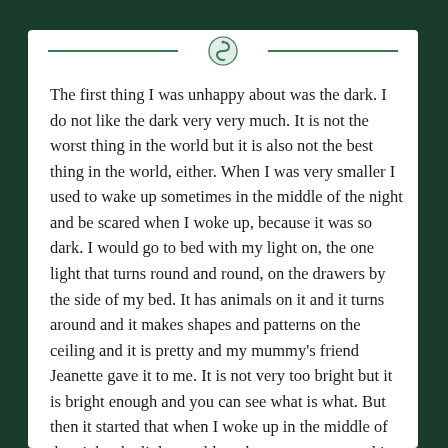[Figure (logo): Green decorative logo/emblem with snake or scroll motif, flanked by two horizontal green lines]
The first thing I was unhappy about was the dark. I do not like the dark very very much. It is not the worst thing in the world but it is also not the best thing in the world, either. When I was very smaller I used to wake up sometimes in the middle of the night and be scared when I woke up, because it was so dark. I would go to bed with my light on, the one light that turns round and round, on the drawers by the side of my bed. It has animals on it and it turns around and it makes shapes and patterns on the ceiling and it is pretty and my mummy's friend Jeanette gave it to me. It is not very too bright but it is bright enough and you can see what is what. But then it started that when I woke up in the middle of the night, the light would not be on any more and it would be completely dark instead and it would